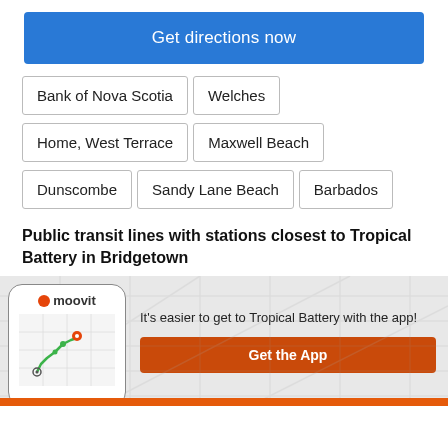Get directions now
Bank of Nova Scotia
Welches
Home, West Terrace
Maxwell Beach
Dunscombe
Sandy Lane Beach
Barbados
Public transit lines with stations closest to Tropical Battery in Bridgetown
[Figure (screenshot): Moovit app promotion with phone mockup showing a map route with green path and location pins]
It's easier to get to Tropical Battery with the app!
Get the App